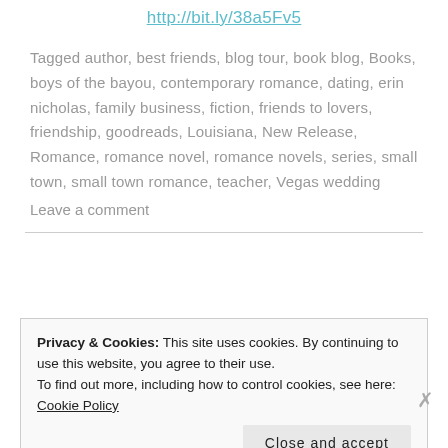http://bit.ly/38a5Fv5
Tagged author, best friends, blog tour, book blog, Books, boys of the bayou, contemporary romance, dating, erin nicholas, family business, fiction, friends to lovers, friendship, goodreads, Louisiana, New Release, Romance, romance novel, romance novels, series, small town, small town romance, teacher, Vegas wedding
Leave a comment
Privacy & Cookies: This site uses cookies. By continuing to use this website, you agree to their use.
To find out more, including how to control cookies, see here: Cookie Policy
Close and accept